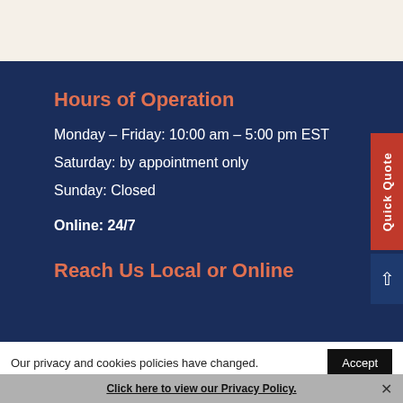Hours of Operation
Monday – Friday: 10:00 am – 5:00 pm EST
Saturday: by appointment only
Sunday: Closed
Online: 24/7
Reach Us Local or Online
Our privacy and cookies policies have changed.
Click here to view our Privacy Policy.
Share This